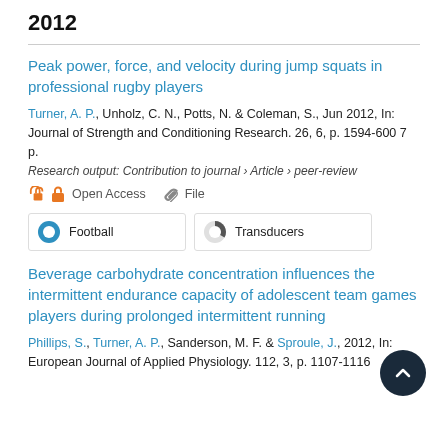2012
Peak power, force, and velocity during jump squats in professional rugby players
Turner, A. P., Unholz, C. N., Potts, N. & Coleman, S., Jun 2012, In: Journal of Strength and Conditioning Research. 26, 6, p. 1594-600 7 p.
Research output: Contribution to journal › Article › peer-review
Open Access   File
[Figure (infographic): Two keyword badges: Football with 100% donut chart (full blue), Transducers with ~33% donut chart (partial dark fill)]
Beverage carbohydrate concentration influences the intermittent endurance capacity of adolescent team games players during prolonged intermittent running
Phillips, S., Turner, A. P., Sanderson, M. F. & Sproule, J., 2012, In: European Journal of Applied Physiology. 112, 3, p. 1107-1116